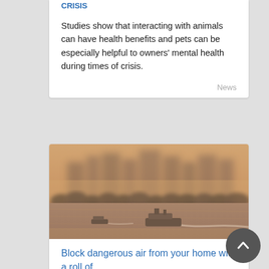Studies show that interacting with animals can have health benefits and pets can be especially helpful to owners' mental health during times of crisis.
News
[Figure (photo): Smoggy city scene with a river in the foreground, boats on water, and buildings obscured by thick brownish-orange haze/smog in the background. Trees line the far bank.]
Block dangerous air from your home with a roll of